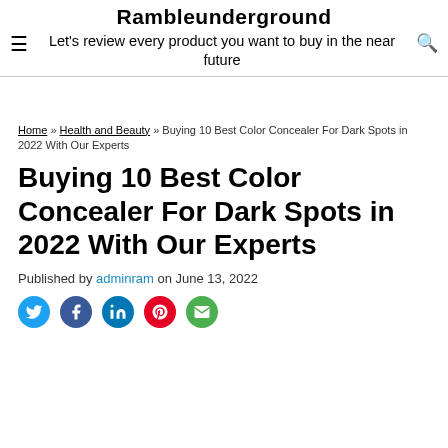Rambleunderground — Let's review every product you want to buy in the near future
Home » Health and Beauty » Buying 10 Best Color Concealer For Dark Spots in 2022 With Our Experts
Buying 10 Best Color Concealer For Dark Spots in 2022 With Our Experts
Published by adminram on June 13, 2022
[Figure (infographic): Row of social sharing icons: Twitter (blue bird), Facebook (blue f), LinkedIn (blue in), Pinterest (red P), Email (green envelope)]